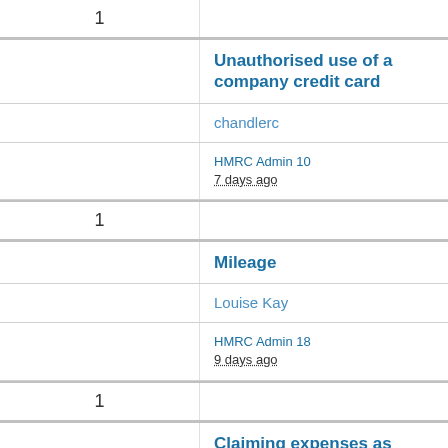1
Unauthorised use of a company credit card
chandlerc
HMRC Admin 10
7 days ago
1
Mileage
Louise Kay
HMRC Admin 18
9 days ago
1
Claiming expenses as PAYE?